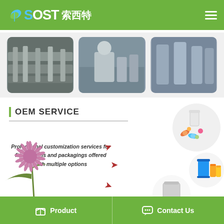[Figure (logo): SOST 索西特 company logo with green leaf icon on green header bar]
[Figure (photo): Three factory/laboratory photos showing industrial equipment and cleanroom worker]
OEM SERVICE
Professional customization services for final-articels and packagings offered with multiple options
[Figure (illustration): OEM service illustration showing pills/capsules, barrels with bottles, and powder packaging with arrows, plus a thistle flower in the corner]
Product   Contact Us